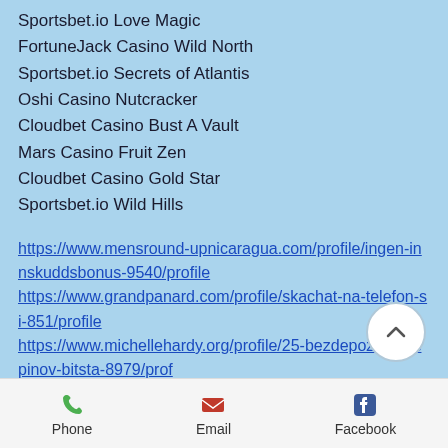Sportsbet.io Love Magic
FortuneJack Casino Wild North
Sportsbet.io Secrets of Atlantis
Oshi Casino Nutcracker
Cloudbet Casino Bust A Vault
Mars Casino Fruit Zen
Cloudbet Casino Gold Star
Sportsbet.io Wild Hills
https://www.mensround-upnicaragua.com/profile/ingen-innskuddsbonus-9540/profile https://www.grandpanard.com/profile/skachat-na-telefon-si-851/profile https://www.michellehardy.org/profile/25-bezdepozitnyh-spinov-bitsta-8979/prof... http://livecopper.com/community/profile/...642034/
Phone  Email  Facebook